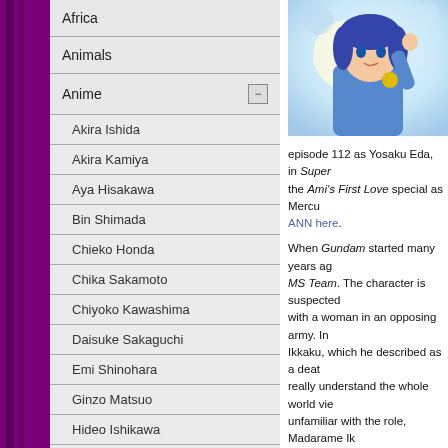Africa
Animals
Anime
Akira Ishida
Akira Kamiya
Aya Hisakawa
Bin Shimada
Chieko Honda
Chika Sakamoto
Chiyoko Kawashima
Daisuke Sakaguchi
Emi Shinohara
Ginzo Matsuo
Hideo Ishikawa
Hikaru Midorikawa
Ikue Otani
Isshin Chiba
[Figure (illustration): Anime-style illustration of a character in blue outfit with yellow accessory on light background]
episode 112 as Yosaku Eda, in Super... the Ami's First Love special as Mercu... ANN here.
When Gundam started many years ag... MS Team. The character is suspected... with a woman in an opposing army. In... Ikkaku, which he described as a deat... really understand the whole world vie... unfamiliar with the role, Madarame Ik... fighting and likes to drag out the "fun"
In high school, Hiyama did announce... radio drams, he found he could play a... characters because it was only based... This led to his voice acting career late...
Although he will play any type of char... playing the "cool" guys who are quiet... enjoys characters that have a wider ra...